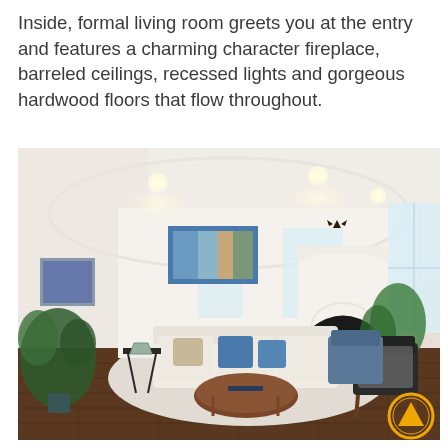Inside, formal living room greets you at the entry and features a charming character fireplace, barreled ceilings, recessed lights and gorgeous hardwood floors that flow throughout.
[Figure (photo): Interior photo of a bright, modern formal living room with white barrel-vaulted ceiling, recessed lighting, a white arched fireplace, hardwood floors, a beige sofa with blue pillows, mid-century modern armchairs, a round coffee table, a large abstract painting on the wall, potted plants, and a decorative deer head mount above the fireplace. A gold triangle navigation icon is visible in the bottom-right corner.]